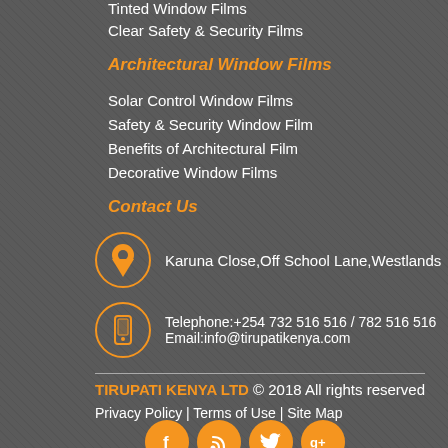Tinted Window Films
Clear Safety & Security Films
Architectural Window Films
Solar Control Window Films
Safety & Security Window Film
Benefits of Architectural Film
Decorative Window Films
Contact Us
Karuna Close,Off School Lane,Westlands
Telephone:+254 732 516 516 / 782 516 516
Email:info@tirupatikenya.com
TIRUPATI KENYA LTD © 2018 All rights reserved
Privacy Policy | Terms of Use | Site Map
[Figure (other): Social media icons: Facebook, RSS, Twitter, Google+]